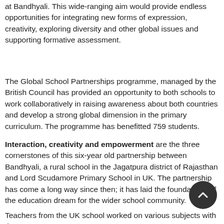at Bandhyali. This wide-ranging aim would provide endless opportunities for integrating new forms of expression, creativity, exploring diversity and other global issues and supporting formative assessment.
The Global School Partnerships programme, managed by the British Council has provided an opportunity to both schools to work collaboratively in raising awareness about both countries and develop a strong global dimension in the primary curriculum. The programme has benefitted 759 students.
Interaction, creativity and empowerment are the three cornerstones of this six-year old partnership between Bandhyali, a rural school in the Jagatpura district of Rajasthan and Lord Scudamore Primary School in UK. The partnership has come a long way since then; it has laid the foundations of the education dream for the wider school community.
Teachers from the UK school worked on various subjects with the